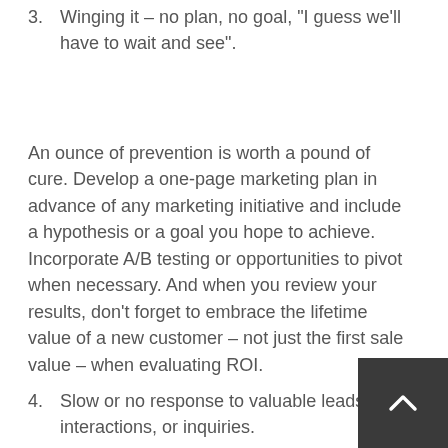3. Winging it – no plan, no goal, "I guess we'll have to wait and see".
An ounce of prevention is worth a pound of cure. Develop a one-page marketing plan in advance of any marketing initiative and include a hypothesis or a goal you hope to achieve. Incorporate A/B testing or opportunities to pivot when necessary. And when you review your results, don't forget to embrace the lifetime value of a new customer – not just the first sale value – when evaluating ROI.
4. Slow or no response to valuable leads, interactions, or inquiries.